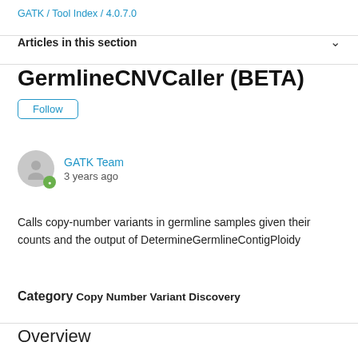GATK / Tool Index / 4.0.7.0
Articles in this section
GermlineCNVCaller (BETA)
Follow
GATK Team
3 years ago
Calls copy-number variants in germline samples given their counts and the output of DetermineGermlineContigPloidy
Category Copy Number Variant Discovery
Overview